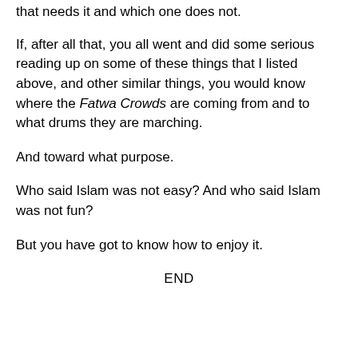that needs it and which one does not.
If, after all that, you all went and did some serious reading up on some of these things that I listed above, and other similar things, you would know where the Fatwa Crowds are coming from and to what drums they are marching.
And toward what purpose.
Who said Islam was not easy? And who said Islam was not fun?
But you have got to know how to enjoy it.
END